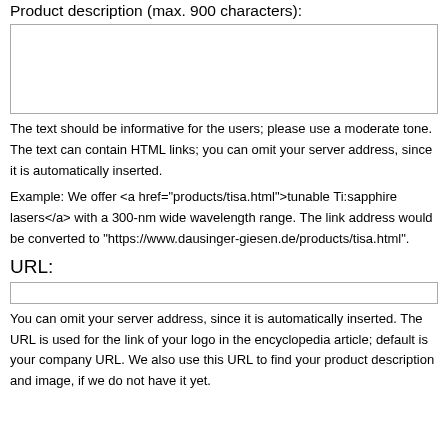Product description (max. 900 characters):
The text should be informative for the users; please use a moderate tone. The text can contain HTML links; you can omit your server address, since it is automatically inserted. Example: We offer <a href="products/tisa.html">tunable Ti:sapphire lasers</a> with a 300-nm wide wavelength range. The link address would be converted to "https://www.dausinger-giesen.de/products/tisa.html".
URL:
You can omit your server address, since it is automatically inserted. The URL is used for the link of your logo in the encyclopedia article; default is your company URL. We also use this URL to find your product description and image, if we do not have it yet.